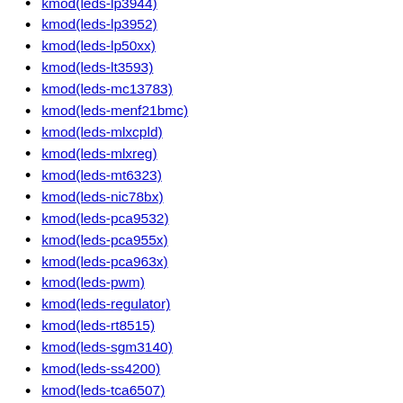kmod(leds-lp3944)
kmod(leds-lp3952)
kmod(leds-lp50xx)
kmod(leds-lt3593)
kmod(leds-mc13783)
kmod(leds-menf21bmc)
kmod(leds-mlxcpld)
kmod(leds-mlxreg)
kmod(leds-mt6323)
kmod(leds-nic78bx)
kmod(leds-pca9532)
kmod(leds-pca955x)
kmod(leds-pca963x)
kmod(leds-pwm)
kmod(leds-regulator)
kmod(leds-rt8515)
kmod(leds-sgm3140)
kmod(leds-ss4200)
kmod(leds-tca6507)
kmod(leds-ti-lmu-common)
kmod(leds-tlc591xx)
kmod(leds-tps6105x)
kmod(leds-wm831x-status)
kmod(ledtrig-activity)
kmod(ledtrig-audio)
kmod(ledtrig-backlight)